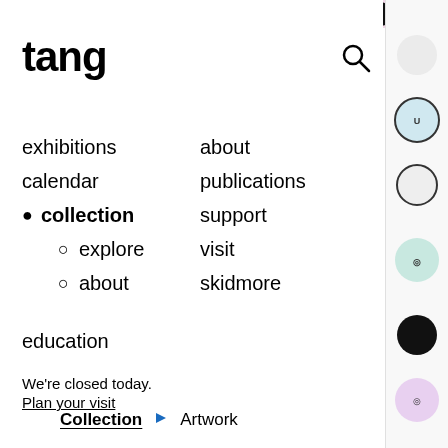tang
exhibitions
calendar
● collection
○ explore
○ about
about
publications
support
visit
skidmore
education
We're closed today.
Plan your visit
Collection ▶ Artwork
[Figure (photo): Dark abstract artwork photograph, black tones with some lighter areas]